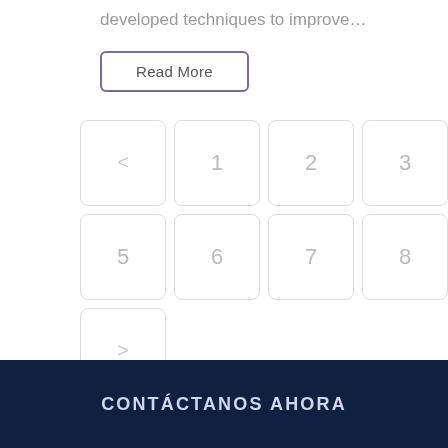developed techniques to improve…
Read More
[Figure (other): Pagination navigation with buttons: < (previous), 1, 2, 3, 4, 5, 6, 7, 8, 9 (active/current), > (next)]
CONTÁCTANOS AHORA